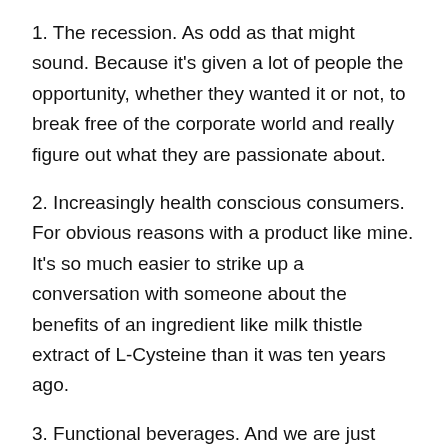1. The recession. As odd as that might sound. Because it's given a lot of people the opportunity, whether they wanted it or not, to break free of the corporate world and really figure out what they are passionate about.
2. Increasingly health conscious consumers. For obvious reasons with a product like mine. It's so much easier to strike up a conversation with someone about the benefits of an ingredient like milk thistle extract of L-Cysteine than it was ten years ago.
3. Functional beverages. And we are just seeing the